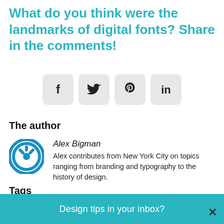What do you think were the landmarks of digital fonts? Share in the comments!
[Figure (other): Social sharing buttons row: Facebook (f), Twitter (bird), Pinterest (p), LinkedIn (in)]
The author
[Figure (logo): Circular blue power/user icon for Alex Bigman]
Alex Bigman
Alex contributes from New York City on topics ranging from branding and typography to the history of design.
Tags
Optimized  |  Design history & movement
Design tips in your inbox?